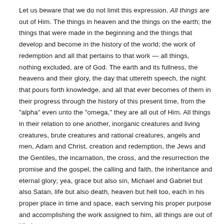Let us beware that we do not limit this expression. All things are out of Him. The things in heaven and the things on the earth; the things that were made in the beginning and the things that develop and become in the history of the world; the work of redemption and all that pertains to that work — all things, nothing excluded, are of God. The earth and its fullness, the heavens and their glory, the day that uttereth speech, the night that pours forth knowledge, and all that ever becomes of them in their progress through the history of this present time, from the "alpha" even unto the "omega," they are all out of Him. All things in their relation to one another, inorganic creatures and living creatures, brute creatures and rational creatures, angels and men, Adam and Christ, creation and redemption, the Jews and the Gentiles, the incarnation, the cross, and the resurrection the promise and the gospel, the calling and faith, the inheritance and eternal glory; yea, grace but also sin, Michael and Gabriel but also Satan, life but also death, heaven but hell too, each in his proper place in time and space, each serving his proper purpose and accomplishing the work assigned to him, all things are out of Him!